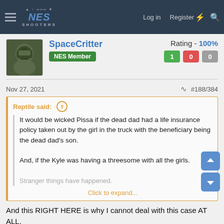NES Shooters — Log in  Register
SpaceCritter
NES Member
Rating - 100%
1 | 0 | 0
Nov 27, 2021
#188/384
Reptile said:

It would be wicked Pissa if the dead dad had a life insurance policy taken out by the girl in the truck with the beneficiary being the dead dad's son.

And, if the Kyle was having a threesome with all the girls.

Stranger things have happened.

Click to expand...
And this RIGHT HERE is why I cannot deal with this case AT ALL.